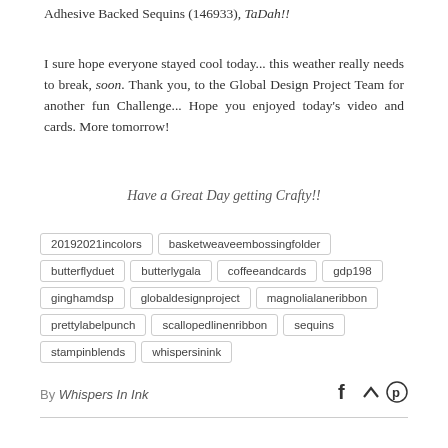Adhesive Backed Sequins (146933), TaDah!!
I sure hope everyone stayed cool today... this weather really needs to break, soon. Thank you, to the Global Design Project Team for another fun Challenge... Hope you enjoyed today's video and cards. More tomorrow!
Have a Great Day getting Crafty!!
20192021incolors
basketweaveembossingfolder
butterflyduet
butterlygala
coffeeandcards
gdp198
ginghamdsp
globaldesignproject
magnolialaneribbon
prettylabelpunch
scallopedlinenribbon
sequins
stampinblends
whispersinink
By Whispers In Ink